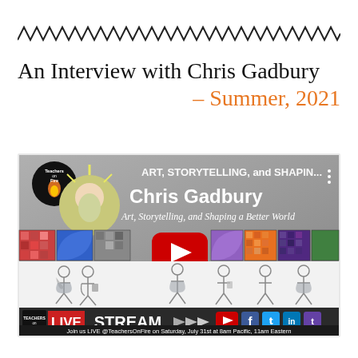[Figure (illustration): Zigzag/wavy decorative border line across the top of the page]
An Interview with Chris Gadbury – Summer, 2021
[Figure (screenshot): YouTube video thumbnail for Teachers on Fire interview with Chris Gadbury. Shows the title 'ART, STORYTELLING, and SHAPIN...' with Chris Gadbury name large, subtitle 'Art, Storytelling, and Shaping a Better World', decorative artwork strip, stick figure people illustrations at bottom, and a LIVE STREAM banner with social media icons at the very bottom. Red YouTube play button overlay in center. Footer text: 'Join us LIVE @TeachersOnFire on Saturday, July 31st at 8am Pacific, 11am Eastern']